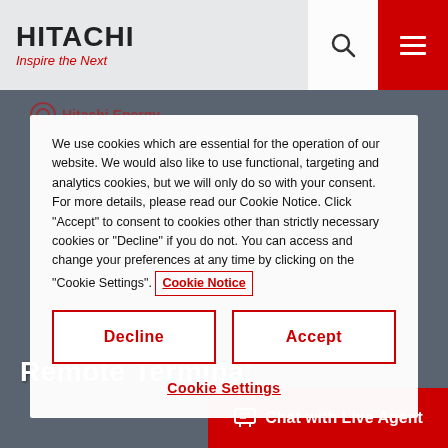[Figure (screenshot): Hitachi website background showing industrial facility, partially obscured by cookie consent modal]
HITACHI Inspire the Next
We use cookies which are essential for the operation of our website. We would also like to use functional, targeting and analytics cookies, but we will only do so with your consent. For more details, please read our Cookie Notice. Click "Accept" to consent to cookies other than strictly necessary cookies or "Decline" if you do not. You can access and change your preferences at any time by clicking on the "Cookie Settings". Cookie Notice
Decline
Accept
Cookie Settings
Remote Termina
Chat with Live Agent